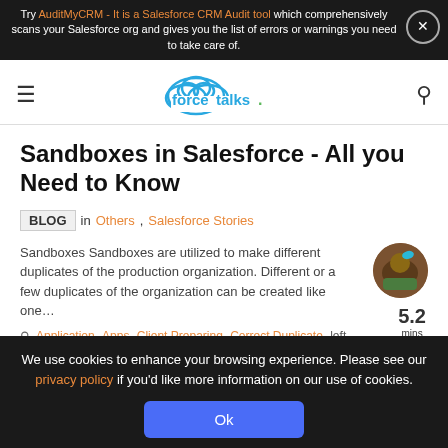Try AuditMyCRM - It is a Salesforce CRM Audit tool which comprehensively scans your Salesforce org and gives you the list of errors or warnings you need to take care of.
[Figure (logo): forcetalks. logo with cloud icon in blue and green dot]
Sandboxes in Salesforce - All you Need to Know
BLOG in Others, Salesforce Stories
Sandboxes Sandboxes are utilized to make different duplicates of the production organization. Different or a few duplicates of the organization can be created like one…
5.2 mins left
Application, Apps, Client Preparing, Correct Duplicate, left Cost Books
We use cookies to enhance your browsing experience. Please see our privacy policy if you'd like more information on our use of cookies.